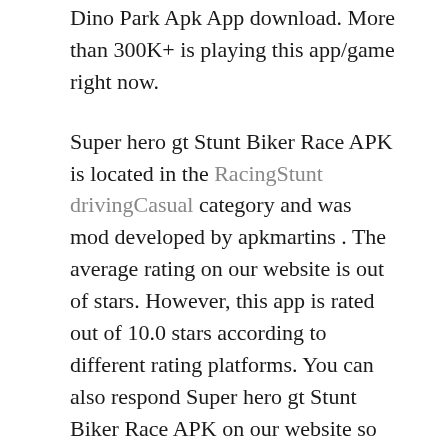Dino Park Apk App download. More than 300K+ is playing this app/game right now.
Super hero gt Stunt Biker Race APK is located in the RacingStunt drivingCasual category and was mod developed by apkmartins . The average rating on our website is out of stars. However, this app is rated out of 10.0 stars according to different rating platforms. You can also respond Super hero gt Stunt Biker Race APK on our website so that our users can get a better idea of the application. If you want to know more about Super hero gt Stunt Biker Race APK, you can visit the official developer website for more information. The average rating is rated by users.